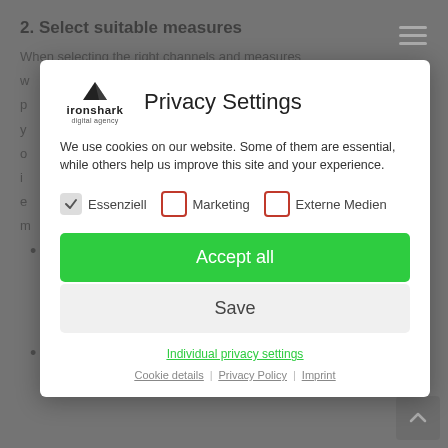2. Select suitable measures
When selecting the right channels and measures w... p... y... y... s o... i... e... m...
engines
[Figure (screenshot): Privacy settings modal dialog with ironshark digital agency logo, Privacy Settings title, cookie consent text, checkboxes for Essenziell (checked), Marketing (unchecked), Externe Medien (unchecked), Accept all green button, Save button, Individual privacy settings link, Cookie details | Privacy Policy | Imprint footer links]